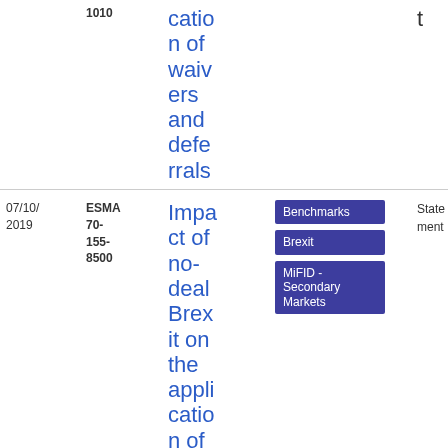| Date | Reference | Title | Tags | Type | File |
| --- | --- | --- | --- | --- | --- |
|  | 1010 | cation of waivers and deferralS |  | t | 3 MB |
| 07/10/2019 | ESMA 70-155-8500 | Impact of no-deal Brexit on the application of MiFID II/MiFIR | Benchmarks, Brexit, MiFID - Secondary Markets | Statement | PDF 140.47 KB |